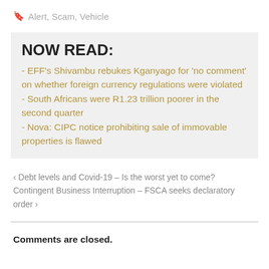Alert, Scam, Vehicle
NOW READ:
- EFF's Shivambu rebukes Kganyago for 'no comment' on whether foreign currency regulations were violated
- South Africans were R1.23 trillion poorer in the second quarter
- Nova: CIPC notice prohibiting sale of immovable properties is flawed
< Debt levels and Covid-19 – Is the worst yet to come?
Contingent Business Interruption – FSCA seeks declaratory order >
Comments are closed.